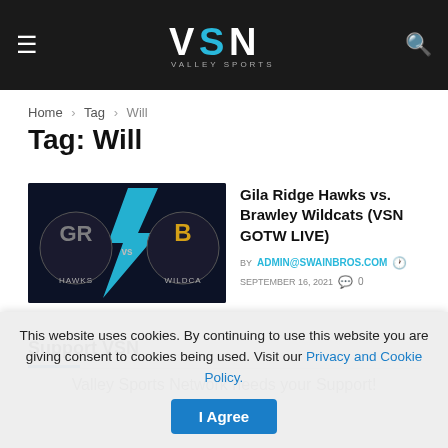VSN Valley Sports Network
Home > Tag > Will
Tag: Will
[Figure (photo): Thumbnail image for Gila Ridge Hawks vs Brawley Wildcats game with team logos on dark background with blue lightning bolt]
Gila Ridge Hawks vs. Brawley Wildcats (VSN GOTW LIVE)
BY ADMIN@SWAINBROS.COM  SEPTEMBER 16, 2021  0
Support VSN
Valley Sports Network needs your Support!
This website uses cookies. By continuing to use this website you are giving consent to cookies being used. Visit our Privacy and Cookie Policy.